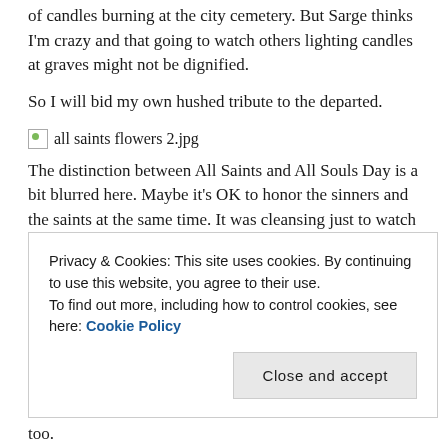of candles burning at the city cemetery. But Sarge thinks I'm crazy and that going to watch others lighting candles at graves might not be dignified.
So I will bid my own hushed tribute to the departed.
[Figure (photo): Broken image placeholder labeled 'all saints flowers 2.jpg']
The distinction between All Saints and All Souls Day is a bit blurred here. Maybe it's OK to honor the sinners and the saints at the same time. It was cleansing just to watch people tidying tombstones and watering flowers this morning. It's a hallowed day for sure.
Privacy & Cookies: This site uses cookies. By continuing to use this website, you agree to their use.
To find out more, including how to control cookies, see here: Cookie Policy
too.